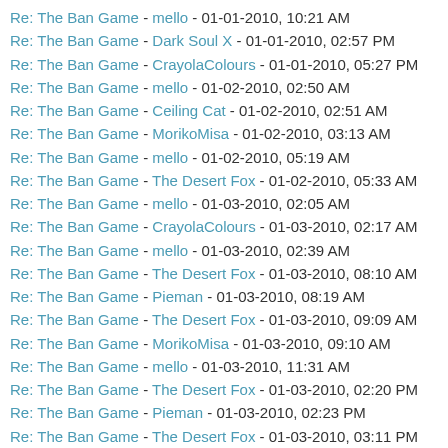Re: The Ban Game - mello - 01-01-2010, 10:21 AM
Re: The Ban Game - Dark Soul X - 01-01-2010, 02:57 PM
Re: The Ban Game - CrayolaColours - 01-01-2010, 05:27 PM
Re: The Ban Game - mello - 01-02-2010, 02:50 AM
Re: The Ban Game - Ceiling Cat - 01-02-2010, 02:51 AM
Re: The Ban Game - MorikoMisa - 01-02-2010, 03:13 AM
Re: The Ban Game - mello - 01-02-2010, 05:19 AM
Re: The Ban Game - The Desert Fox - 01-02-2010, 05:33 AM
Re: The Ban Game - mello - 01-03-2010, 02:05 AM
Re: The Ban Game - CrayolaColours - 01-03-2010, 02:17 AM
Re: The Ban Game - mello - 01-03-2010, 02:39 AM
Re: The Ban Game - The Desert Fox - 01-03-2010, 08:10 AM
Re: The Ban Game - Pieman - 01-03-2010, 08:19 AM
Re: The Ban Game - The Desert Fox - 01-03-2010, 09:09 AM
Re: The Ban Game - MorikoMisa - 01-03-2010, 09:10 AM
Re: The Ban Game - mello - 01-03-2010, 11:31 AM
Re: The Ban Game - The Desert Fox - 01-03-2010, 02:20 PM
Re: The Ban Game - Pieman - 01-03-2010, 02:23 PM
Re: The Ban Game - The Desert Fox - 01-03-2010, 03:11 PM
Re: The Ban Game - LOON_ATTIC - 01-05-2010, 05:54 PM
Re: The Ban Game - Ceiling Cat - 01-05-2010, 06:00 PM
Re: The Ban Game - The Desert Fox - 01-05-2010, 07:34 PM
Re: The Ban Game - mello - 01-06-2010, 08:02 AM